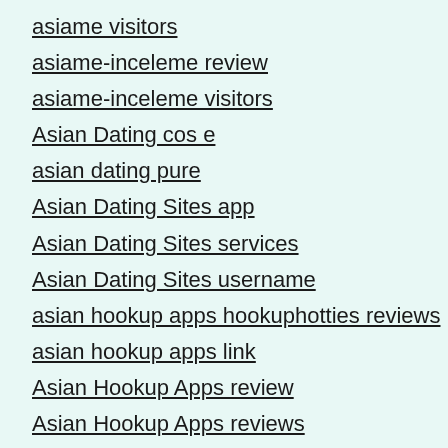asiame visitors
asiame-inceleme review
asiame-inceleme visitors
Asian Dating cos e
asian dating pure
Asian Dating Sites app
Asian Dating Sites services
Asian Dating Sites username
asian hookup apps hookuphotties reviews
asian hookup apps link
Asian Hookup Apps review
Asian Hookup Apps reviews
asian hookup apps site